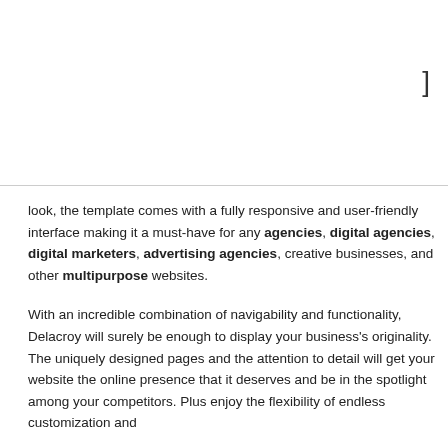look, the template comes with a fully responsive and user-friendly interface making it a must-have for any agencies, digital agencies, digital marketers, advertising agencies, creative businesses, and other multipurpose websites.
With an incredible combination of navigability and functionality, Delacroy will surely be enough to display your business's originality. The uniquely designed pages and the attention to detail will get your website the online presence that it deserves and be in the spotlight among your competitors. Plus enjoy the flexibility of endless customization and